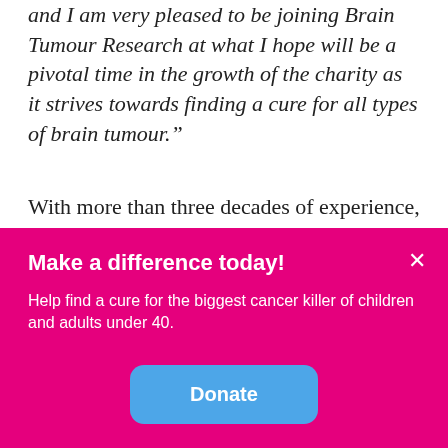and I am very pleased to be joining Brain Tumour Research at what I hope will be a pivotal time in the growth of the charity as it strives towards finding a cure for all types of brain tumour."
With more than three decades of experience, Russell has raised more than £750m to date for organisations including The Royal Institution of Engineering and Technology, the Old Vic Theatre and BEN, the automotive industry charity. He will oversee the charity's
Make a difference today!
Help find a cure for the biggest cancer killer of children and adults under 40.
Donate